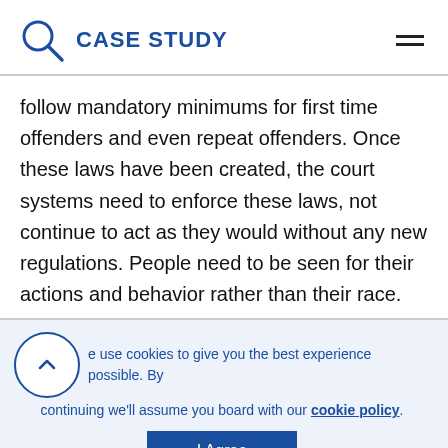CASE STUDY
follow mandatory minimums for first time offenders and even repeat offenders. Once these laws have been created, the court systems need to enforce these laws, not continue to act as they would without any new regulations. People need to be seen for their actions and behavior rather than their race.
We use cookies to give you the best experience possible. By continuing we'll assume you board with our cookie policy.
I Agree